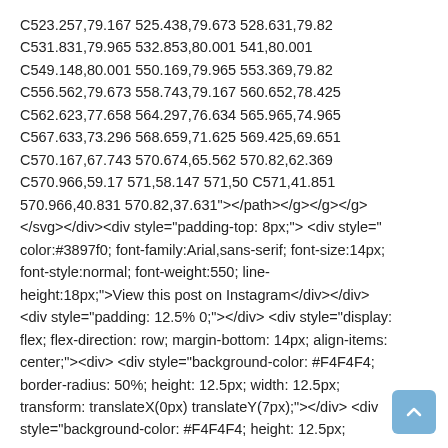C523.257,79.167 525.438,79.673 528.631,79.82 C531.831,79.965 532.853,80.001 541,80.001 C549.148,80.001 550.169,79.965 553.369,79.82 C556.562,79.673 558.743,79.167 560.652,78.425 C562.623,77.658 564.297,76.634 565.965,74.965 C567.633,73.296 568.659,71.625 569.425,69.651 C570.167,67.743 570.674,65.562 570.82,62.369 C570.966,59.17 571,58.147 571,50 C571,41.851 570.966,40.831 570.82,37.631"></path></g></g></g></svg></div><div style="padding-top: 8px;"> <div style="color:#3897f0; font-family:Arial,sans-serif; font-size:14px; font-style:normal; font-weight:550; line-height:18px;">View this post on Instagram</div></div> <div style="padding: 12.5% 0;"></div> <div style="display: flex; flex-direction: row; margin-bottom: 14px; align-items: center;"><div> <div style="background-color: #F4F4F4; border-radius: 50%; height: 12.5px; width: 12.5px; transform: translateX(0px) translateY(7px);"></div> <div style="background-color: #F4F4F4; height: 12.5px;